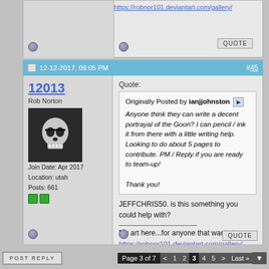https://robnor101.deviantart.com/gallery/
12-12-2017, 09:05 PM  #45
12013
Rob Norton
Join Date: Apr 2017
Location: utah
Posts: 661
Quote:
Originally Posted by ianjjohnston
Anyone think they can write a decent portrayal of the Goon? I can pencil / ink it from there with a little writing help. Looking to do about 5 pages to contribute. PM / Reply if you are ready to team-up!

Thank you!
JEFFCHRIS50. is this something you could help with?
My art here...for anyone that wants to see..
https://robnor101.deviantart.com/gallery/
POST REPLY   Page 3 of 7  < 1 2 3 4 5 > Last »